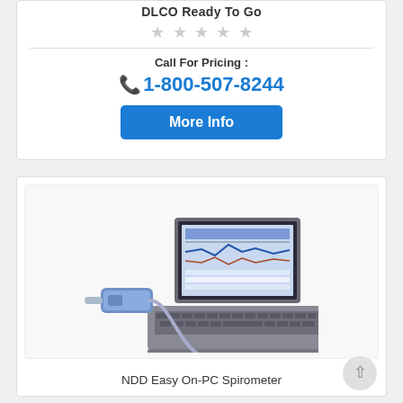DLCO Ready To Go
★★★★★ (0 stars)
Call For Pricing :
1-800-507-8244
More Info
[Figure (photo): NDD Easy On-PC Spirometer device connected to a laptop computer via USB cable. The laptop shows spirometry software on its screen.]
NDD Easy On-PC Spirometer